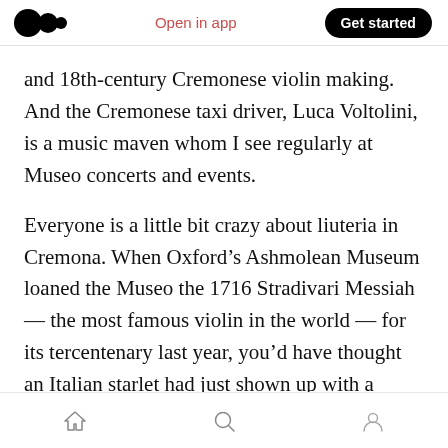Medium logo | Open in app | Get started
and 18th-century Cremonese violin making. And the Cremonese taxi driver, Luca Voltolini, is a music maven whom I see regularly at Museo concerts and events.
Everyone is a little bit crazy about liuteria in Cremona. When Oxford’s Ashmolean Museum loaned the Museo the 1716 Stradivari Messiah — the most famous violin in the world — for its tercentenary last year, you’d have thought an Italian starlet had just shown up with a gaggle of paparazzi in tow.
Home | Search | Profile